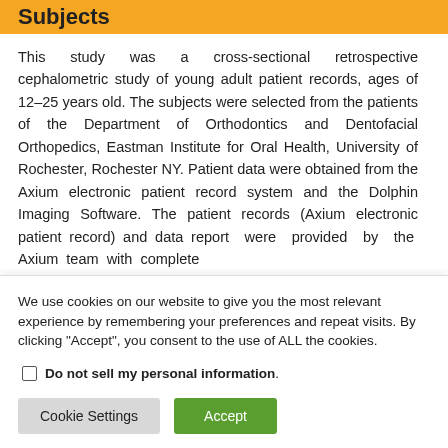Subjects
This study was a cross-sectional retrospective cephalometric study of young adult patient records, ages of 12–25 years old. The subjects were selected from the patients of the Department of Orthodontics and Dentofacial Orthopedics, Eastman Institute for Oral Health, University of Rochester, Rochester NY. Patient data were obtained from the Axium electronic patient record system and the Dolphin Imaging Software. The patient records (Axium electronic patient record) and data report were provided by the Axium team with complete
We use cookies on our website to give you the most relevant experience by remembering your preferences and repeat visits. By clicking "Accept", you consent to the use of ALL the cookies.
Do not sell my personal information.
Cookie Settings | Accept